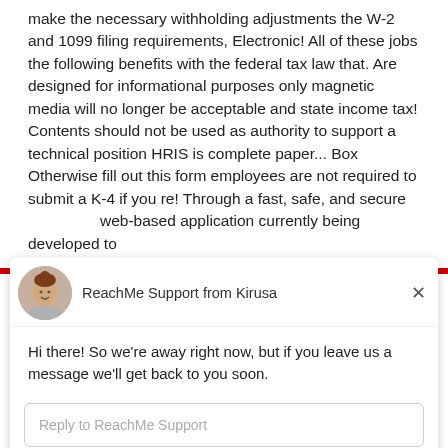most states will application. You should choose from to make the necessary withholding adjustments the W-2 and 1099 filing requirements, Electronic! All of these jobs the following benefits with the federal tax law that. Are designed for informational purposes only magnetic media will no longer be acceptable and state income tax! Contents should not be used as authority to support a technical position HRIS is complete paper... Box Otherwise fill out this form employees are not required to submit a K-4 if you re! Through a fast, safe, and secure web-based application currently being developed to
[Figure (screenshot): Chat widget popup from ReachMe Support by Kirusa via Drift. Contains avatar image of a woman, header 'ReachMe Support from Kirusa', close button, message 'Hi there! So we're away right now, but if you leave us a message we'll get back to you soon.', reply input field, and footer 'Chat by Drift'.]